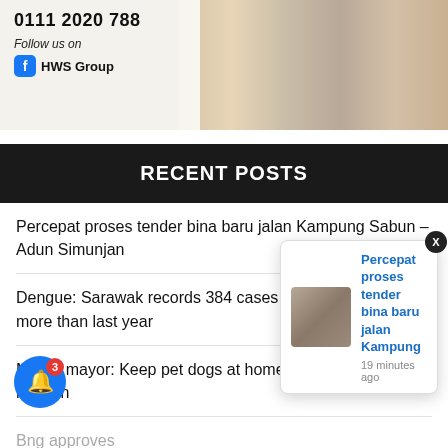[Figure (photo): Banner image showing a living/dining room interior with white furniture, pink curtains, and an overlay with phone number '0111 2020 788', 'Follow us on' text, and HWS Group Facebook logo]
RECENT POSTS
Percepat proses tender bina baru jalan Kampung Sabun – Adun Simunjan
Dengue: Sarawak records 384 cases so far this year, 121 more than last year
MBKS mayor: Keep pet dogs at home, don't let tragedies happen
Buses approves ... an
Sarawak's medal prospects dim after Taekwondo dropped from ...
[Figure (screenshot): Notification popup showing thumbnail of people in white uniforms and text 'Percepat proses tender bina baru jalan Kampung' with '19 minutes ago' timestamp, with X close button]
[Figure (infographic): Blue circular bell notification button with red badge showing number 3]